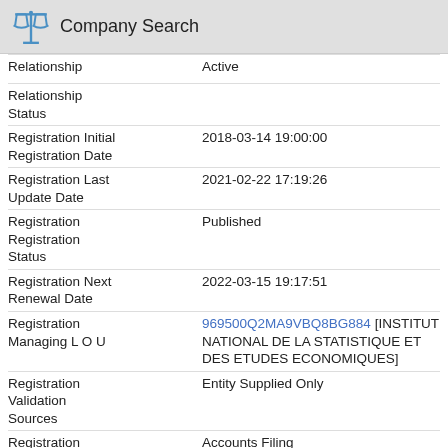Company Search
| Field | Value |
| --- | --- |
| Relationship | Active |
| Relationship
Status |  |
| Registration Initial
Registration Date | 2018-03-14 19:00:00 |
| Registration Last
Update Date | 2021-02-22 17:19:26 |
| Registration
Registration
Status | Published |
| Registration Next
Renewal Date | 2022-03-15 19:17:51 |
| Registration
Managing L O U | 969500Q2MA9VBQ8BG884 [INSTITUT NATIONAL DE LA STATISTIQUE ET DES ETUDES ECONOMIQUES] |
| Registration
Validation
Sources | Entity Supplied Only |
| Registration
Validation | Accounts Filing |